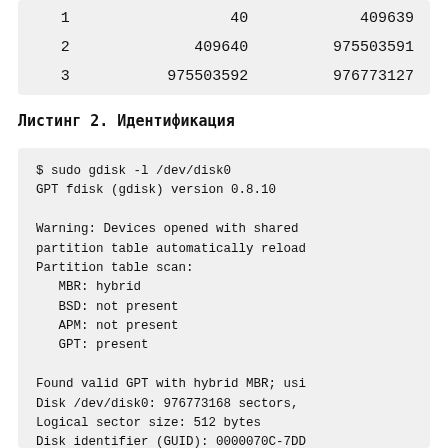|  |  |  |
| --- | --- | --- |
| 1 | 40 | 409639 |
| 2 | 409640 | 975503591 |
| 3 | 975503592 | 976773127 |
Листинг 2. Идентификация
$ sudo gdisk -l /dev/disk0
GPT fdisk (gdisk) version 0.8.10

Warning: Devices opened with shared
partition table automatically reload
Partition table scan:
   MBR: hybrid
   BSD: not present
   APM: not present
   GPT: present

Found valid GPT with hybrid MBR; usi
Disk /dev/disk0: 976773168 sectors,
Logical sector size: 512 bytes
Disk identifier (GUID): 0000070C-7DD
Partition table holds up to 128